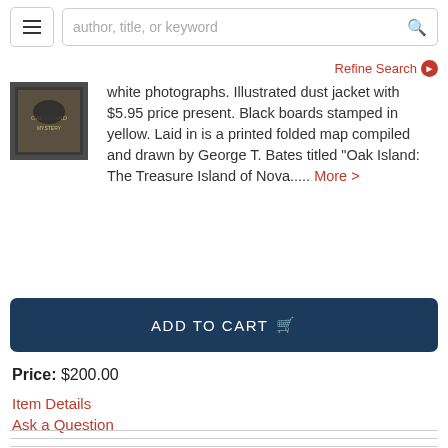author, title, or keyword [search bar]
Refine Search
white photographs. Illustrated dust jacket with $5.95 price present. Black boards stamped in yellow. Laid in is a printed folded map compiled and drawn by George T. Bates titled "Oak Island: The Treasure Island of Nova..... More >
ADD TO CART
Price: $200.00
Item Details
Ask a Question